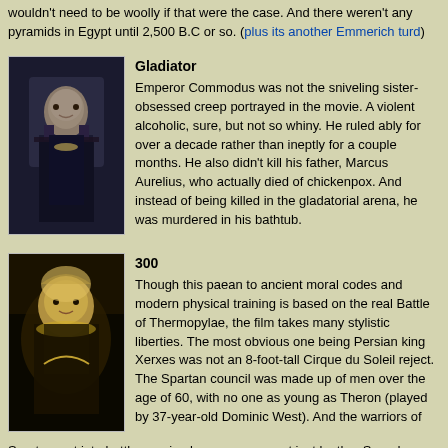wouldn't need to be woolly if that were the case. And there weren't any pyramids in Egypt until 2,500 B.C or so. (plus its another Emmerich turd)
[Figure (photo): Movie still from Gladiator showing Emperor Commodus in dark armor]
Gladiator
Emperor Commodus was not the sniveling sister-obsessed creep portrayed in the movie. A violent alcoholic, sure, but not so whiny. He ruled ably for over a decade rather than ineptly for a couple months. He also didn't kill his father, Marcus Aurelius, who actually died of chickenpox. And instead of being killed in the gladatorial arena, he was murdered in his bathtub.
[Figure (photo): Movie still from 300 showing Persian king Xerxes in golden armor]
300
Though this paean to ancient moral codes and modern physical training is based on the real Battle of Thermopylae, the film takes many stylistic liberties. The most obvious one being Persian king Xerxes was not an 8-foot-tall Cirque du Soleil reject. The Spartan council was made up of men over the age of 60, with no one as young as Theron (played by 37-year-old Dominic West). And the warriors of Sparta went into battle wearing bronze armor, not just leather Speedos.